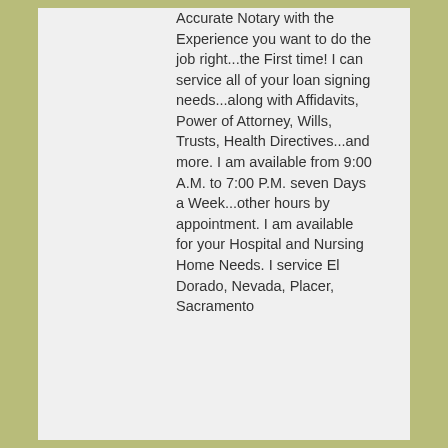Accurate Notary with the Experience you want to do the job right...the First time! I can service all of your loan signing needs...along with Affidavits, Power of Attorney, Wills, Trusts, Health Directives...and more. I am available from 9:00 A.M. to 7:00 P.M. seven Days a Week...other hours by appointment. I am available for your Hospital and Nursing Home Needs. I service El Dorado, Nevada, Placer, Sacramento
[Figure (illustration): Magnifying glass / search icon in olive/dark yellow color]
Theresa Leite
Sutter, CA